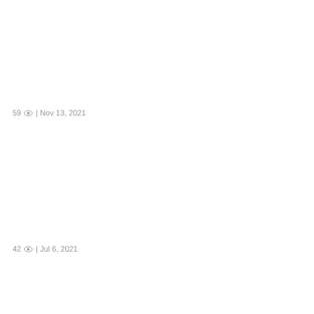59 👁 | Nov 13, 2021
42 👁 | Jul 6, 2021